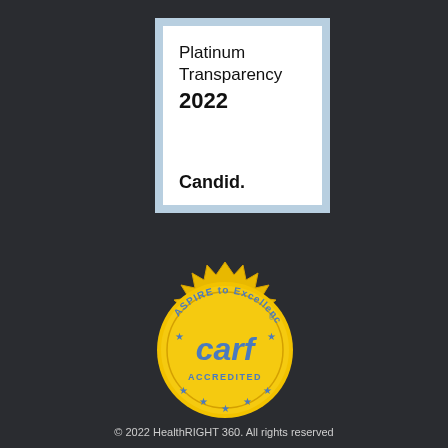[Figure (logo): Candid Platinum Transparency 2022 badge - white square with light blue border containing text 'Platinum Transparency 2022' and bold 'Candid.']
[Figure (logo): CARF Accredited seal - gold sunburst/medallion with blue stars, text 'ASPIRE to Excellence' around top arc, 'carf' in blue in center, 'ACCREDITED' below]
© 2022 HealthRIGHT 360. All rights reserved